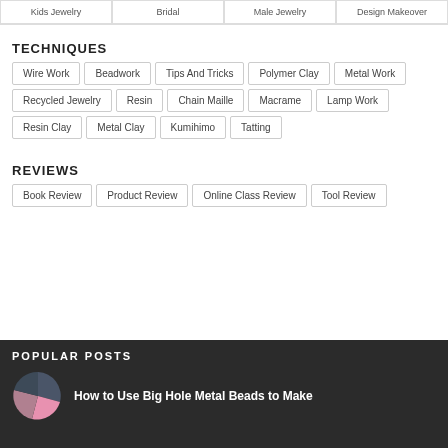Kids Jewelry | Bridal | Male Jewelry | Design Makeover
TECHNIQUES
Wire Work
Beadwork
Tips And Tricks
Polymer Clay
Metal Work
Recycled Jewelry
Resin
Chain Maille
Macrame
Lamp Work
Resin Clay
Metal Clay
Kumihimo
Tatting
REVIEWS
Book Review
Product Review
Online Class Review
Tool Review
POPULAR POSTS
How to Use Big Hole Metal Beads to Make